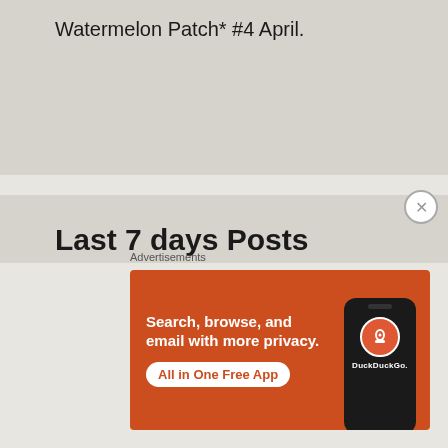Watermelon Patch* #4 April.
Last 7 days Posts
18 September
16 September
15 September
[Figure (screenshot): DuckDuckGo advertisement banner: orange background with text 'Search, browse, and email with more privacy. All in One Free App' alongside a phone image with DuckDuckGo logo]
Advertisements